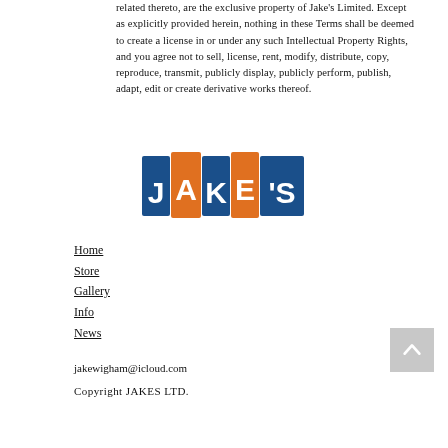related thereto, are the exclusive property of Jake's Limited. Except as explicitly provided herein, nothing in these Terms shall be deemed to create a license in or under any such Intellectual Property Rights, and you agree not to sell, license, rent, modify, distribute, copy, reproduce, transmit, publicly display, publicly perform, publish, adapt, edit or create derivative works thereof.
[Figure (logo): Jake's logo with colorful tiled letters — J, A, K, E, apostrophe, S on alternating blue and orange rectangles with white text]
Home
Store
Gallery
Info
News
jakewigham@icloud.com
Copyright JAKES LTD.